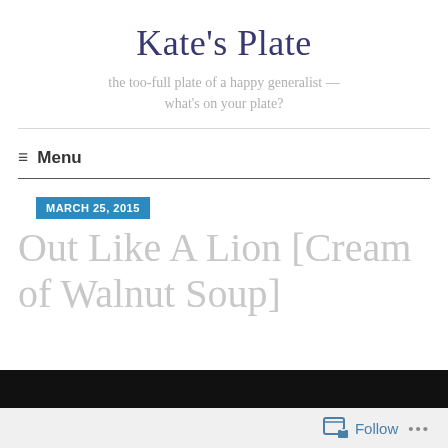Kate's Plate
the too-full plate of a happy generalist — what's on your plate?
≡ Menu
MARCH 25, 2015
Out Like A Lion [Cream of Walnut Soup]
[Figure (photo): Dark image bar at the bottom of the page, partially visible]
Follow ...